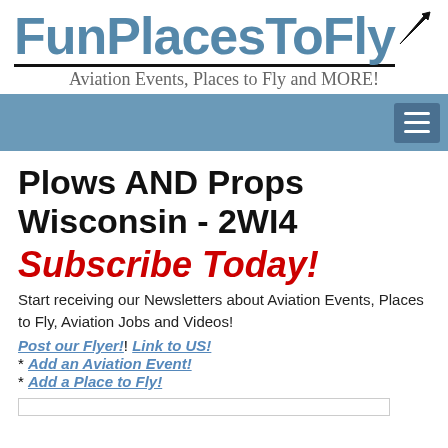FunPlacesToFly
Aviation Events, Places to Fly and MORE!
Plows AND Props Wisconsin - 2WI4
Subscribe Today!
Start receiving our Newsletters about Aviation Events, Places to Fly, Aviation Jobs and Videos!
Post our Flyer! Link to US!
* Add an Aviation Event!
* Add a Place to Fly!